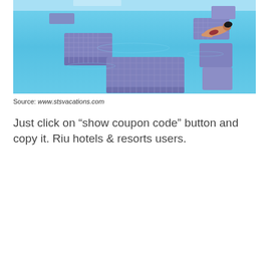[Figure (photo): Aerial view of a resort pool with blue mosaic tile sun loungers/platforms in the water; a woman in a swimsuit is reclining on one of the raised platforms]
Source: www.stsvacations.com
Just click on “show coupon code” button and copy it. Riu hotels & resorts users.